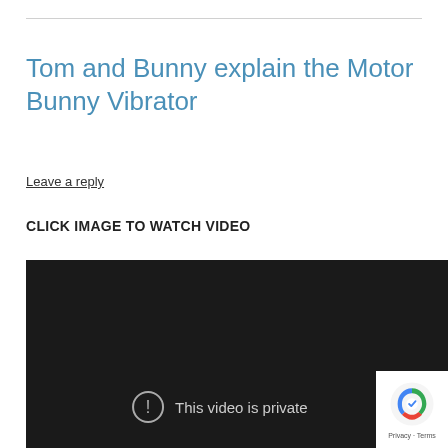Tom and Bunny explain the Motor Bunny Vibrator
Leave a reply
CLICK IMAGE TO WATCH VIDEO
[Figure (screenshot): Dark video player showing 'This video is private' message with exclamation icon, and a reCAPTCHA badge in the bottom right corner.]